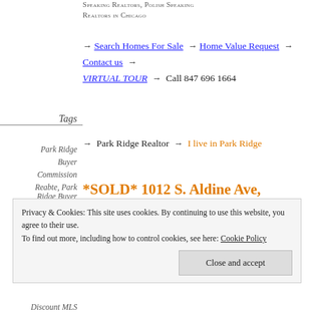Speaking Realtors, Polish Speaking Realtors in Chicago
→ Search Homes For Sale → Home Value Request → Contact us → VIRTUAL TOUR → Call 847 696 1664
→ Park Ridge Realtor → I live in Park Ridge
Tags
Park Ridge
Buyer Commission
Reabte, Park Ridge Buyer Commission
Refund, Park Ridge Buyer's Agent, Park
*SOLD* 1012 S. Aldine Ave, Park Ridge, IL 60068
SOLD for 94% of list price – Michal Sorensen
Privacy & Cookies: This site uses cookies. By continuing to use this website, you agree to their use.
To find out more, including how to control cookies, see here: Cookie Policy
Close and accept
Discount MLS